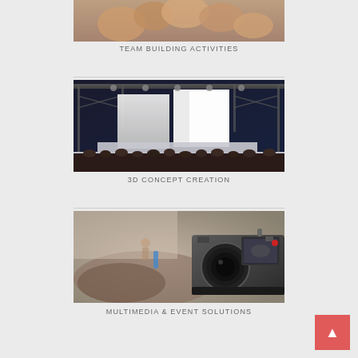[Figure (photo): Hands joined together in a team gesture from above, team building concept]
TEAM BUILDING ACTIVITIES
[Figure (photo): 3D render of a stage setup with truss lighting and rows of theatre seats]
3D CONCEPT CREATION
[Figure (photo): A conference hall with audience and a video camera in the foreground]
MULTIMEDIA & EVENT SOLUTIONS